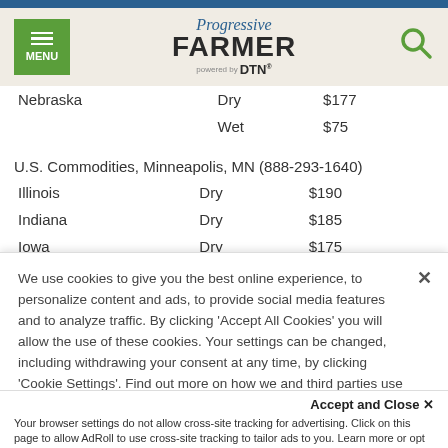Progressive Farmer powered by DTN
| State | Condition | Price |
| --- | --- | --- |
| Nebraska | Dry | $177 |
|  | Wet | $75 |
U.S. Commodities, Minneapolis, MN (888-293-1640)
| State | Condition | Price |
| --- | --- | --- |
| Illinois | Dry | $190 |
| Indiana | Dry | $185 |
| Iowa | Dry | $175 |
We use cookies to give you the best online experience, to personalize content and ads, to provide social media features and to analyze traffic. By clicking 'Accept All Cookies' you will allow the use of these cookies. Your settings can be changed, including withdrawing your consent at any time, by clicking 'Cookie Settings'. Find out more on how we and third parties use cookies in our Cookie Policy
Accept and Close ×
Your browser settings do not allow cross-site tracking for advertising. Click on this page to allow AdRoll to use cross-site tracking to tailor ads to you. Learn more or opt out of this AdRoll tracking by clicking here. This message only appears once.